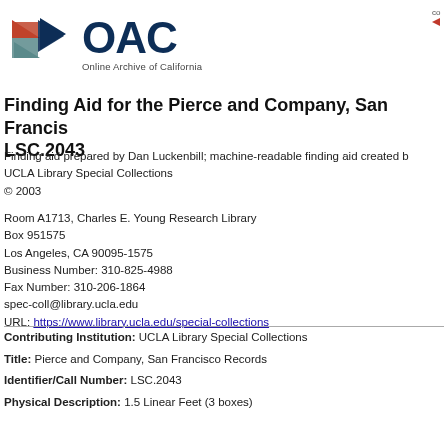[Figure (logo): OAC Online Archive of California logo with diamond/arrow shapes in red-orange, dark blue, and teal]
Finding Aid for the Pierce and Company, San Francisco LSC.2043
Finding aid prepared by Dan Luckenbill; machine-readable finding aid created by UCLA Library Special Collections
© 2003
Room A1713, Charles E. Young Research Library
Box 951575
Los Angeles, CA 90095-1575
Business Number: 310-825-4988
Fax Number: 310-206-1864
spec-coll@library.ucla.edu
URL: https://www.library.ucla.edu/special-collections
Contributing Institution: UCLA Library Special Collections
Title: Pierce and Company, San Francisco Records
Identifier/Call Number: LSC.2043
Physical Description: 1.5 Linear Feet (3 boxes)